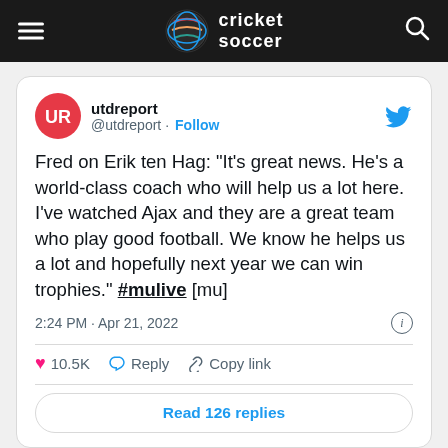cricket soccer
[Figure (screenshot): Embedded tweet from @utdreport about Fred's quote on Erik ten Hag, with 10.5K likes, Reply, and Copy link actions, and a Read 126 replies button. Posted at 2:24 PM · Apr 21, 2022.]
Fred on Erik ten Hag: "It's great news. He's a world-class coach who will help us a lot here. I've watched Ajax and they are a great team who play good football. We know he helps us a lot and hopefully next year we can win trophies." #mulive [mu]
2:24 PM · Apr 21, 2022
♥ 10.5K   Reply   Copy link
Read 126 replies